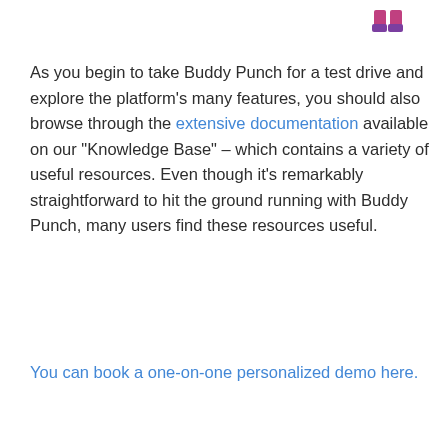[Figure (illustration): Small icon of boots/shoes in pink/purple colors in top right corner]
As you begin to take Buddy Punch for a test drive and explore the platform’s many features, you should also browse through the extensive documentation available on our “Knowledge Base” – which contains a variety of useful resources. Even though it’s remarkably straightforward to hit the ground running with Buddy Punch, many users find these resources useful.
You can book a one-on-one personalized demo here.